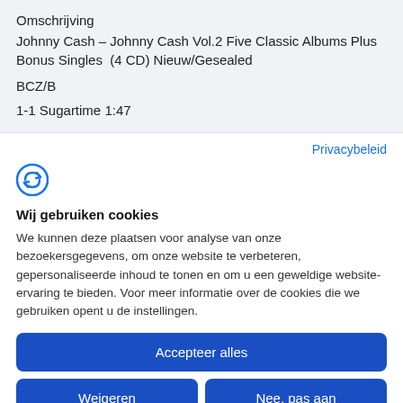Omschrijving
Johnny Cash – Johnny Cash Vol.2 Five Classic Albums Plus Bonus Singles  (4 CD) Nieuw/Gesealed
BCZ/B
1-1 Sugartime 1:47
Privacybeleid
[Figure (logo): Circular arrow/checkmark logo icon in blue]
Wij gebruiken cookies
We kunnen deze plaatsen voor analyse van onze bezoekersgegevens, om onze website te verbeteren, gepersonaliseerde inhoud te tonen en om u een geweldige website-ervaring te bieden. Voor meer informatie over de cookies die we gebruiken opent u de instellingen.
Accepteer alles
Weigeren
Nee, pas aan